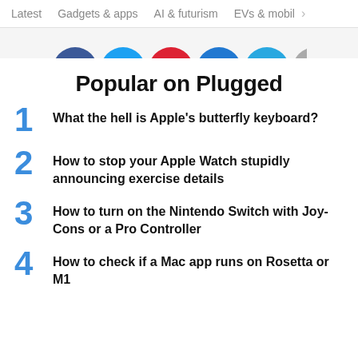Latest   Gadgets & apps   AI & futurism   EVs & mobil  >
[Figure (illustration): Row of partial social media / category icon circles in blue, red, blue, blue, and gray colors]
Popular on Plugged
1  What the hell is Apple's butterfly keyboard?
2  How to stop your Apple Watch stupidly announcing exercise details
3  How to turn on the Nintendo Switch with Joy-Cons or a Pro Controller
4  How to check if a Mac app runs on Rosetta or M1